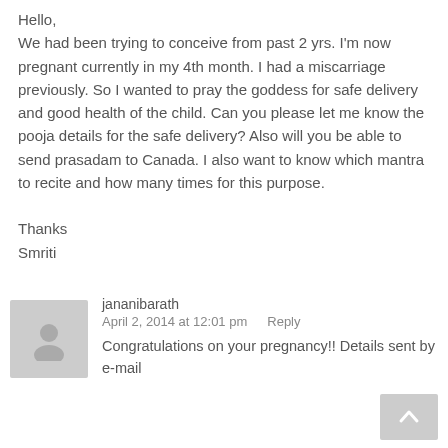Hello,
We had been trying to conceive from past 2 yrs. I'm now pregnant currently in my 4th month. I had a miscarriage previously. So I wanted to pray the goddess for safe delivery and good health of the child. Can you please let me know the pooja details for the safe delivery? Also will you be able to send prasadam to Canada. I also want to know which mantra to recite and how many times for this purpose.

Thanks
Smriti
jananibarath
April 2, 2014 at 12:01 pm
Congratulations on your pregnancy!! Details sent by e-mail